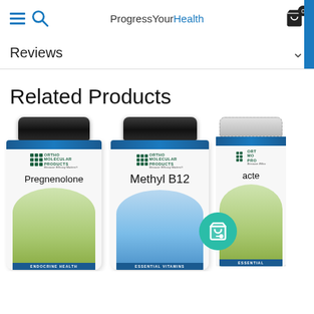ProgressYourHealth
Reviews
Related Products
[Figure (photo): Three Ortho Molecular Products supplement bottles: Pregnenolone (Endocrine Health), Methyl B12 (Essential Vitamins), and a partially visible third bottle, with black and white caps shown on white background.]